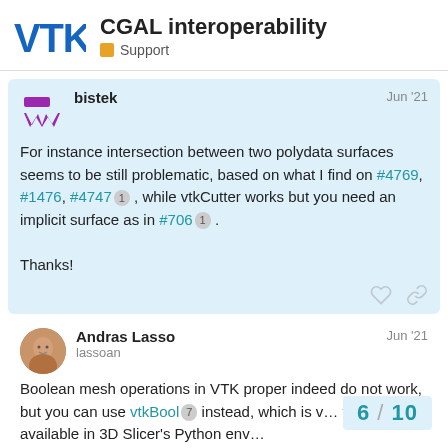CGAL interoperability — Support
bistek — Jun '21
For instance intersection between two polydata surfaces seems to be still problematic, based on what I find on #4769, #1476, #4747 1 , while vtkCutter works but you need an implicit surface as in #706 1 .

Thanks!
Andras Lasso
lassoan — Jun '21
Boolean mesh operations in VTK proper indeed do not work, but you can use vtkBool 7 instead, which is v... vtkBool available in 3D Slicer's Python env...
6 / 10